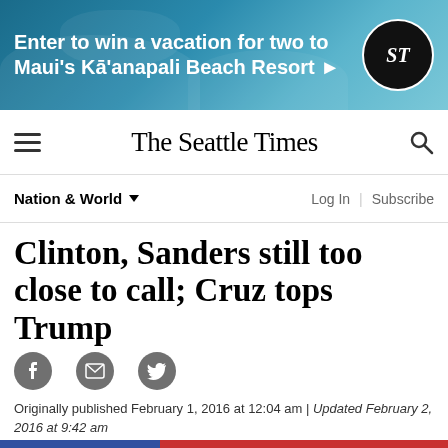[Figure (other): Advertisement banner: 'Enter to win a vacation for two to Maui's Kā'anapali Beach Resort ▶' with Seattle Times logo on right, beach/resort background image]
The Seattle Times
Nation & World ▼
Clinton, Sanders still too close to call; Cruz tops Trump
[Figure (infographic): Social sharing icons: Facebook, Email, Twitter]
Originally published February 1, 2016 at 12:04 am | Updated February 2, 2016 at 9:42 am
[Figure (photo): Photo of Ted Cruz at a campaign event, with other figures visible, in front of an American flag backdrop]